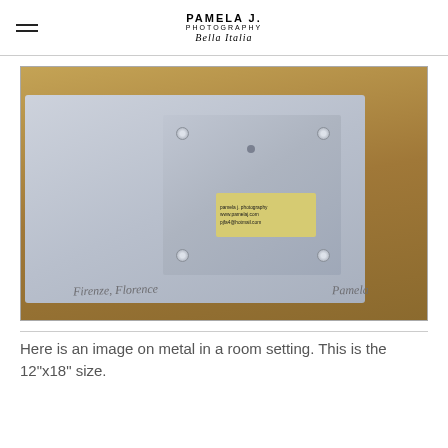PAMELA J. PHOTOGRAPHY Bella Italia
[Figure (photo): Back view of two metal photo prints stacked, showing a smaller metal plate on top of a larger one. The smaller plate has four corner standoffs, a central hole, and a yellow label sticker reading 'pamela j. photography www.pamelaj.com pjfa4@hotmail.com'. Handwritten signatures on the large plate read 'Firenze, Florence' on the left and 'Pamela' on the right. Both plates are silver/grey metallic.]
Here is an image on metal in a room setting. This is the 12"x18" size.